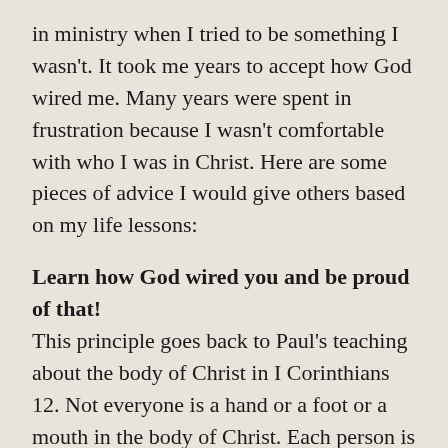in ministry when I tried to be something I wasn't. It took me years to accept how God wired me. Many years were spent in frustration because I wasn't comfortable with who I was in Christ. Here are some pieces of advice I would give others based on my life lessons:
Learn how God wired you and be proud of that!
This principle goes back to Paul's teaching about the body of Christ in I Corinthians 12. Not everyone is a hand or a foot or a mouth in the body of Christ. Each person is designed by God with a specific function to play. When we do not operate in that role, we become frustrated and cause frustration to the body of Christ. I attempted to be contemporary in my worship leading, but I can tell you that I am